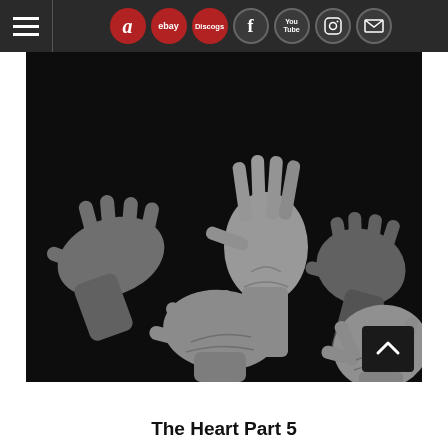Navigation bar with hamburger menu, Amazon, eBay, Discogs, Facebook, YouTube, Instagram, and mail icons
[Figure (photo): Black and white photograph of multiple outstretched hands reaching upward against a dark background]
The Heart Part 5